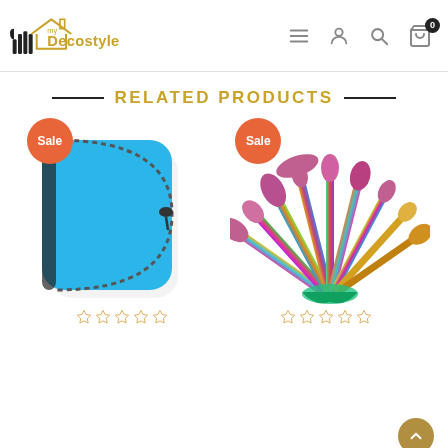myDecostyle — navigation header with logo, menu, account, search, and cart icons
RELATED PRODUCTS
[Figure (photo): Blue EVA zipper case/pouch with Sale badge]
[Figure (photo): Mermaid tail makeup brush set fan arrangement with Sale badge]
Star rating row (empty stars) for blue case product
Star rating row (empty stars) for makeup brush set product